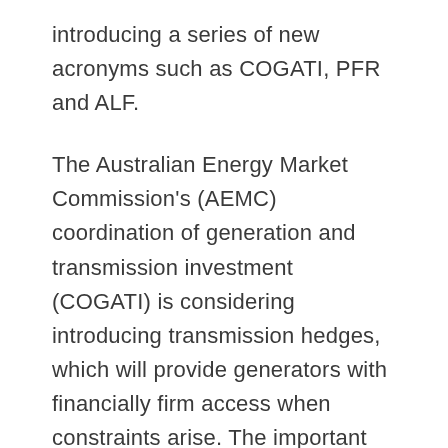introducing a series of new acronyms such as COGATI, PFR and ALF.
The Australian Energy Market Commission's (AEMC) coordination of generation and transmission investment (COGATI) is considering introducing transmission hedges, which will provide generators with financially firm access when constraints arise. The important hedge product design details are due to be released next week. Later next week, we are hosting a workshop with the AEMC focusing on what COGATI means for the renewables sector.